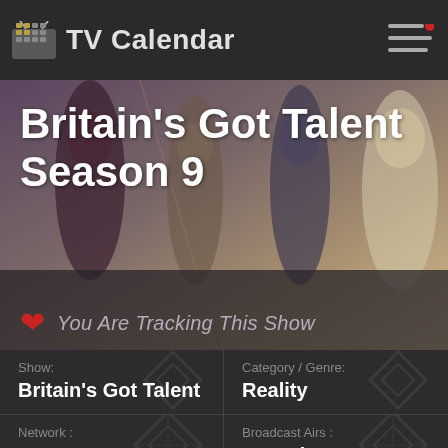TV Calendar
Britain's Got Talent Season 9
You Are Tracking This Show
| Field | Value |
| --- | --- |
| Show: | Britain's Got Talent |
| Category / Genre: | Reality |
| Network : | ITV |
| Broadcast Airs : | Saturday, 7:00pm |